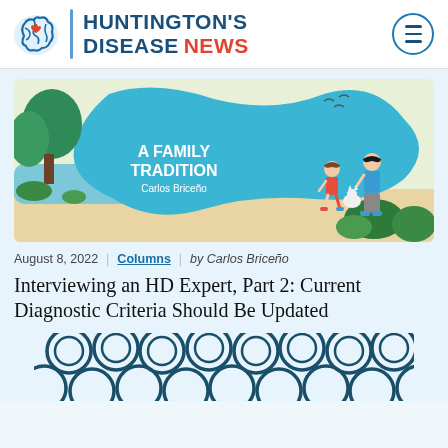[Figure (logo): Huntington's Disease News logo with brain icon]
[Figure (illustration): Illustration titled 'A Family Tradition' by Carlos Briceño showing two people and a cat walking outdoors with trees and blue organic shapes]
August 8, 2022  |  Columns  |  by Carlos Briceño
Interviewing an HD Expert, Part 2: Current Diagnostic Criteria Should Be Updated
[Figure (illustration): Partial illustration of dark teal/navy circular cell or bubble shapes, cropped at bottom of page]